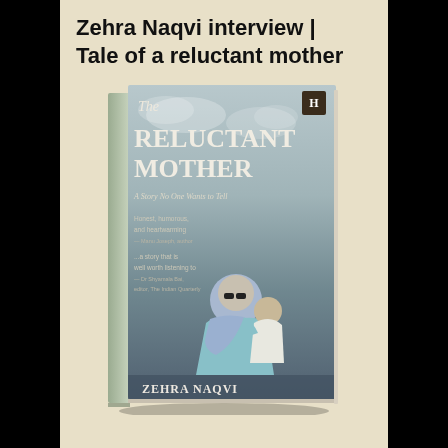Zehra Naqvi interview | Tale of a reluctant mother
[Figure (photo): Book cover of 'The Reluctant Mother: A Story No One Wants to Tell' by Zehra Naqvi, showing a woman in hijab with sunglasses holding a child, published by HarperCollins. The book is shown in a 3D perspective with spine visible.]